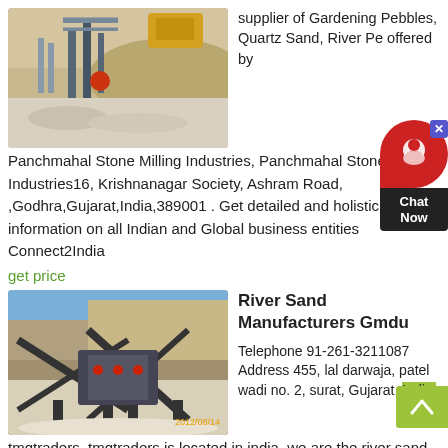[Figure (photo): Industrial stone milling / quarry machinery at an outdoor site with scaffolding and equipment]
supplier of Gardening Pebbles, Quartz Sand, River Pe offered by Panchmahal Stone Milling Industries, Panchmahal Stone Milling Industries16, Krishnanagar Society, Ashram Road, ,Godhra,Gujarat,India,389001 . Get detailed and holistic information on all Indian and Global business entities Connect2India
get price
[Figure (photo): River sand manufacturing plant with conveyor belts and industrial crushing machinery against a rocky hillside]
River Sand Manufacturers Gmdu
Telephone 91-261-3211087 Address 455, lal darwaja, patel wadi no. 2, surat, Gujarat, India.
tmqtraders. tmqtraders is located in india, we are the river sand,